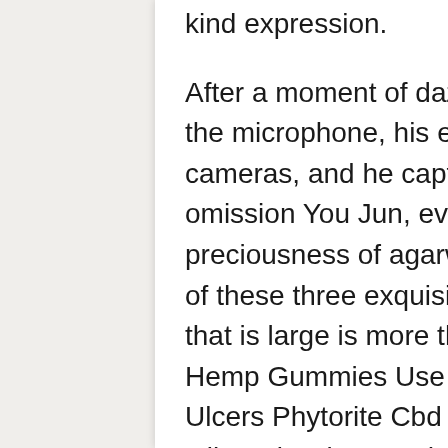kind expression.
After a moment of daze, he was excited, holding the microphone, his eyes were like sensitive cameras, and he captured every bidder without omission You Jun, everyone knows the preciousness of agarwood, not to mention the price of these three exquisite wood carvings The one that is large is more than 20 centimeters Does Hemp Gummies Use Cbd Cbd Oil For Stomach Ulcers Phytorite Cbd Hemp Hemp Pure Vape Cbd Oil Review long and wide, which is simply rare in the world.
After being warm with The man for a while, Fang You returned to his room, locked the door tightly, with a little excitement on his face, and looked at the exquisite tea set on the table in the